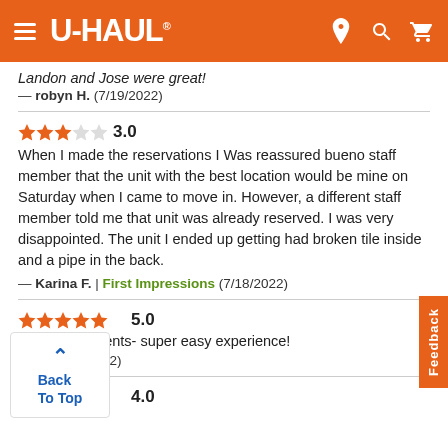U-HAUL
Landon and Jose were great!
— robyn H.  (7/19/2022)
3.0 — When I made the reservations I Was reassured bueno staff member that the unit with the best location would be mine on Saturday when I came to move in. However, a different staff member told me that unit was already reserved. I was very disappointed. The unit I ended up getting had broken tile inside and a pipe in the back.
— Karina F.  |  First Impressions  (7/18/2022)
5.0 — No improvements- super easy experience!
— C.  (7/17/2022)
4.0